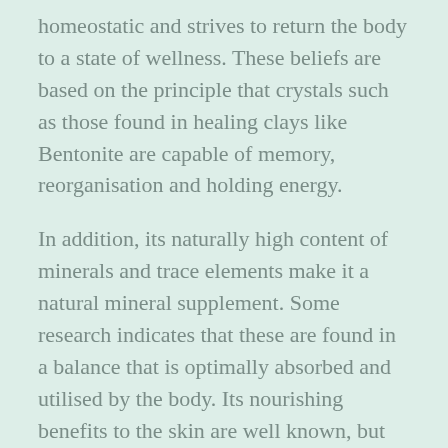homeostatic and strives to return the body to a state of wellness. These beliefs are based on the principle that crystals such as those found in healing clays like Bentonite are capable of memory, reorganisation and holding energy.
In addition, its naturally high content of minerals and trace elements make it a natural mineral supplement. Some research indicates that these are found in a balance that is optimally absorbed and utilised by the body. Its nourishing benefits to the skin are well known, but internal use of specific clays like Bentonite and others can also yield other health benefits.